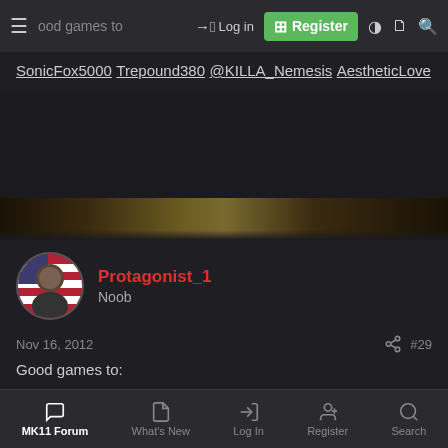good games to — Log in | Register
SonicFox5000
Trepound380
@KILLA_Nemesis
AestheticLove
[Figure (photo): Dark banner image, partial view]
Protagonist_1
Noob
Nov 16, 2012  #29
Good games to:
Mr. Mileena
AU_IM_DIGIMON
MK11 Forum  What's New  Log In  Register  Search